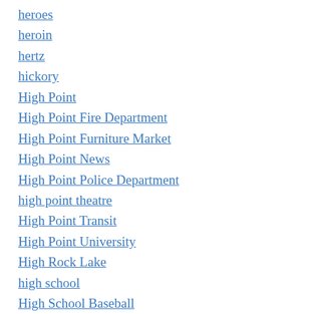heroes
heroin
hertz
hickory
High Point
High Point Fire Department
High Point Furniture Market
High Point News
High Point Police Department
high point theatre
High Point Transit
High Point University
High Rock Lake
high school
High School Baseball